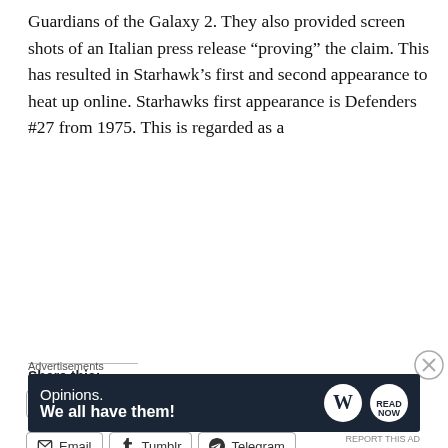Guardians of the Galaxy 2. They also provided screen shots of an Italian press release “proving” the claim. This has resulted in Starhawk’s first and second appearance to heat up online. Starhawks first appearance is Defenders #27 from 1975. This is regarded as a
Share this: Twitter Facebook Reddit Pinterest Email Tumblr Telegram
Like this: Like
[Figure (screenshot): Advertisement banner: 'Opinions. We all have them!' with WordPress and NOW logos on dark navy background]